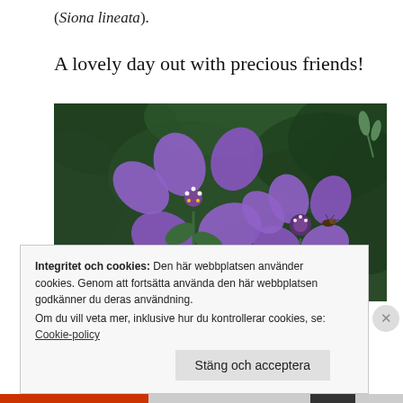(Siona lineata).
A lovely day out with precious friends!
[Figure (photo): Close-up photograph of purple geranium flowers (cranesbill) against dark green foliage background, with a small insect visible on the right flower.]
Integritet och cookies: Den här webbplatsen använder cookies. Genom att fortsätta använda den här webbplatsen godkänner du deras användning.
Om du vill veta mer, inklusive hur du kontrollerar cookies, se:
Cookie-policy
Stäng och acceptera